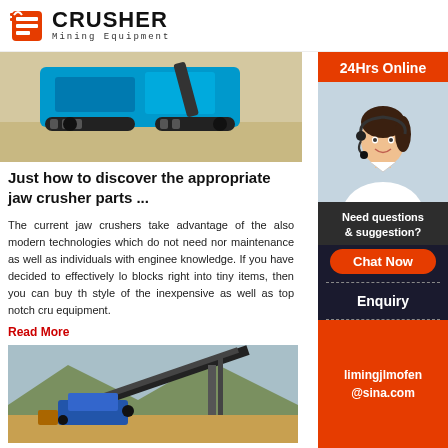CRUSHER Mining Equipment
[Figure (photo): Blue jaw crusher mining equipment photographed outdoors on sandy ground]
Just how to discover the appropriate jaw crusher parts ...
The current jaw crushers take advantage of the also modern technologies which do not need nor maintenance as well as individuals with enginee knowledge. If you have decided to effectively lo blocks right into tiny items, then you can buy th style of the inexpensive as well as top notch cru equipment.
Read More
[Figure (photo): Outdoor mining conveyor belt and crushing equipment facility in a mountainous landscape]
[Figure (infographic): 24Hrs Online sidebar with customer service representative photo, Need questions & suggestion? Chat Now button, Enquiry section, and limingjlmofen@sina.com email]